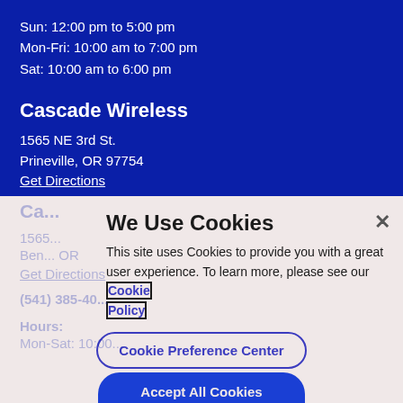Sun: 12:00 pm to 5:00 pm
Mon-Fri: 10:00 am to 7:00 pm
Sat: 10:00 am to 6:00 pm
Cascade Wireless
1565 NE 3rd St.
Prineville, OR 97754
Get Directions
(541) 447-9848
Hours:
Mon-Sat: 10:00 am to 6:00 pm (partially visible)
We Use Cookies
This site uses Cookies to provide you with a great user experience. To learn more, please see our Cookie Policy
Cookie Preference Center
Accept All Cookies (partially visible)